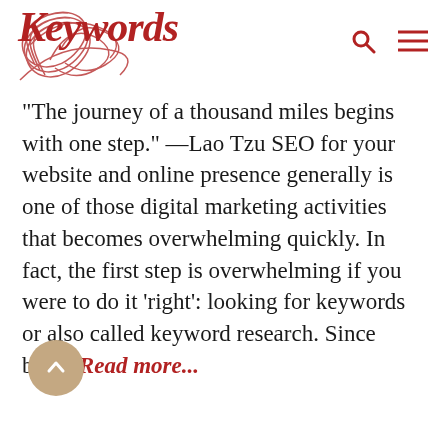Keywords
“The journey of a thousand miles begins with one step.” —Lao Tzu SEO for your website and online presence generally is one of those digital marketing activities that becomes overwhelming quickly. In fact, the first step is overwhelming if you were to do it ‘right’: looking for keywords or also called keyword research. Since being Read more...